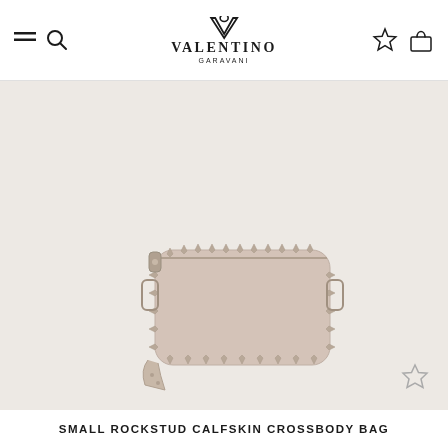VALENTINO GARAVANI
[Figure (photo): Small Rockstud calfskin crossbody bag in pale blush/powder rose color with gold rockstud embellishments along the edges, zipper closure, and strap hardware. Shown on a beige/off-white background.]
SMALL ROCKSTUD CALFSKIN CROSSBODY BAG